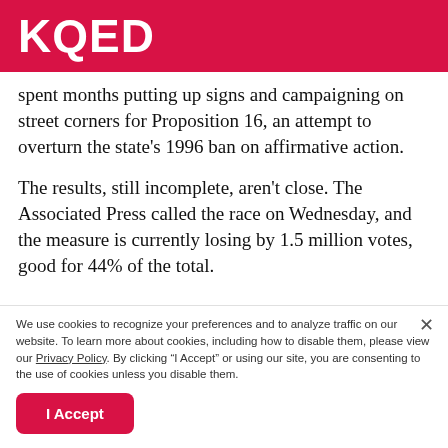KQED
spent months putting up signs and campaigning on street corners for Proposition 16, an attempt to overturn the state’s 1996 ban on affirmative action.
The results, still incomplete, aren't close. The Associated Press called the race on Wednesday, and the measure is currently losing by 1.5 million votes, good for 44% of the total.
We use cookies to recognize your preferences and to analyze traffic on our website. To learn more about cookies, including how to disable them, please view our Privacy Policy. By clicking “I Accept” or using our site, you are consenting to the use of cookies unless you disable them.
I Accept